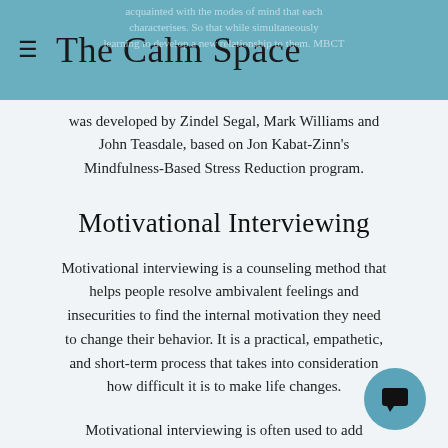The Calm Space
was developed by Zindel Segal, Mark Williams and John Teasdale, based on Jon Kabat-Zinn's Mindfulness-Based Stress Reduction program.
Motivational Interviewing
Motivational interviewing is a counseling method that helps people resolve ambivalent feelings and insecurities to find the internal motivation they need to change their behavior. It is a practical, empathetic, and short-term process that takes into consideration how difficult it is to make life changes.
Motivational interviewing is often used to address addiction and the management of physical health